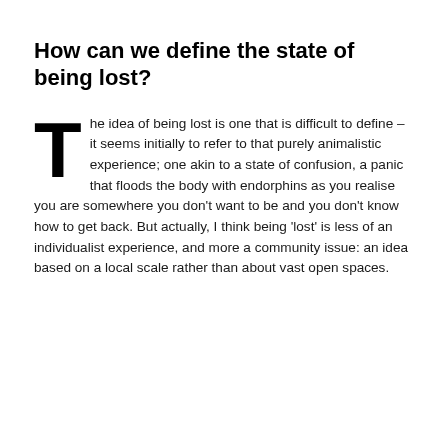How can we define the state of being lost?
The idea of being lost is one that is difficult to define – it seems initially to refer to that purely animalistic experience; one akin to a state of confusion, a panic that floods the body with endorphins as you realise you are somewhere you don't want to be and you don't know how to get back. But actually, I think being 'lost' is less of an individualist experience, and more a community issue: an idea based on a local scale rather than about vast open spaces.